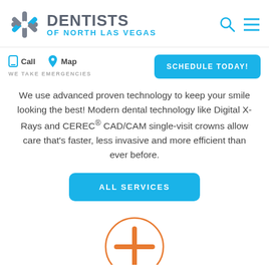[Figure (logo): Dentists of North Las Vegas logo with stylized snowflake/asterisk icon in grey and blue, text DENTISTS in grey and OF NORTH LAS VEGAS in blue]
Call   Map
WE TAKE EMERGENCIES
SCHEDULE TODAY!
We use advanced proven technology to keep your smile looking the best! Modern dental technology like Digital X-Rays and CEREC® CAD/CAM single-visit crowns allow care that's faster, less invasive and more efficient than ever before.
ALL SERVICES
[Figure (illustration): Orange circle with plus/cross symbol inside, partially visible at bottom of page]